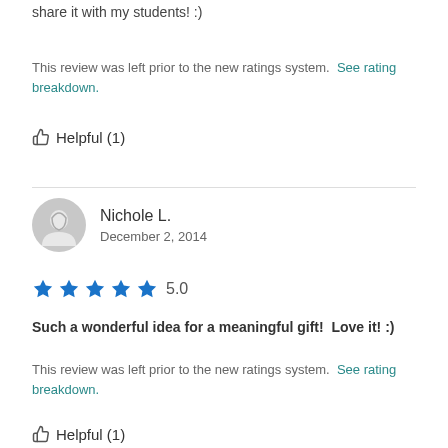share it with my students! :)
This review was left prior to the new ratings system. See rating breakdown.
👍 Helpful (1)
Nichole L.
December 2, 2014
★★★★★ 5.0
Such a wonderful idea for a meaningful gift!  Love it! :)
This review was left prior to the new ratings system. See rating breakdown.
👍 Helpful (1)